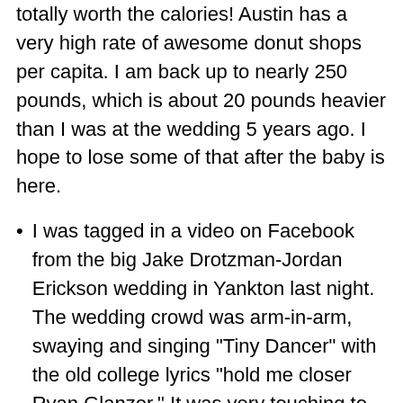totally worth the calories! Austin has a very high rate of awesome donut shops per capita. I am back up to nearly 250 pounds, which is about 20 pounds heavier than I was at the wedding 5 years ago. I hope to lose some of that after the baby is here.
I was tagged in a video on Facebook from the big Jake Drotzman-Jordan Erickson wedding in Yankton last night. The wedding crowd was arm-in-arm, swaying and singing "Tiny Dancer" with the old college lyrics "hold me closer Ryan Glanzer." It was very touching to see that close to a decade after DSU that version of the song lives on.
Two mundane tasks that I constantly fail at in the kitchen are frying eggs and rolling out pizza